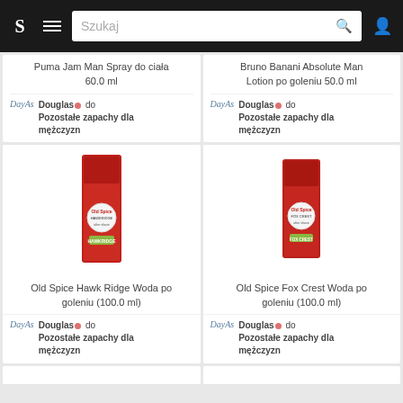S  ≡  Szukaj  🔍  👤
Puma Jam Man Spray do ciała 60.0 ml
Douglas • do Pozostałe zapachy dla mężczyzn
Bruno Banani Absolute Man Lotion po goleniu 50.0 ml
Douglas • do Pozostałe zapachy dla mężczyzn
[Figure (photo): Old Spice Hawk Ridge aftershave red box product]
Old Spice Hawk Ridge Woda po goleniu (100.0 ml)
Douglas • do Pozostałe zapachy dla mężczyzn
[Figure (photo): Old Spice Fox Crest aftershave red box product]
Old Spice Fox Crest Woda po goleniu (100.0 ml)
Douglas • do Pozostałe zapachy dla mężczyzn